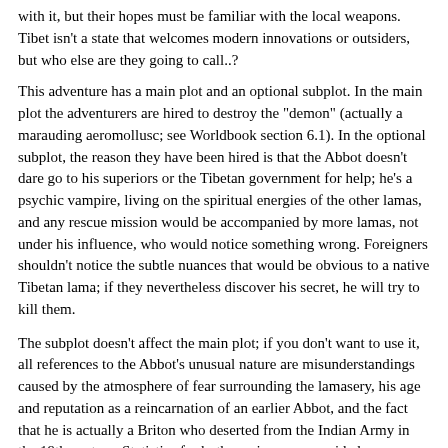with it, but their hopes must be familiar with the local weapons. Tibet isn't a state that welcomes modern innovations or outsiders, but who else are they going to call..?
This adventure has a main plot and an optional subplot. In the main plot the adventurers are hired to destroy the "demon" (actually a marauding aeromollusc; see Worldbook section 6.1). In the optional subplot, the reason they have been hired is that the Abbot doesn't dare go to his superiors or the Tibetan government for help; he's a psychic vampire, living on the spiritual energies of the other lamas, and any rescue mission would be accompanied by more lamas, not under his influence, who would notice something wrong. Foreigners shouldn't notice the subtle nuances that would be obvious to a native Tibetan lama; if they nevertheless discover his secret, he will try to kill them.
The subplot doesn't affect the main plot; if you don't want to use it, all references to the Abbot's unusual nature are misunderstandings caused by the atmosphere of fear surrounding the lamasery, his age and reputation as a reincarnation of an earlier Abbot, and the fact that he is actually a Briton who deserted from the Indian Army in the 19th century. Statistics for both versions are provided.
In this period Tibet is an independent state with a civil government that is nominally controlled by the Dalai Lama. The government has made a deliberate attempt to restrict progress; many basic